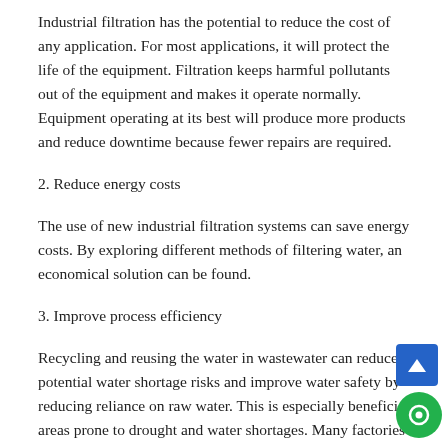Industrial filtration has the potential to reduce the cost of any application. For most applications, it will protect the life of the equipment. Filtration keeps harmful pollutants out of the equipment and makes it operate normally. Equipment operating at its best will produce more products and reduce downtime because fewer repairs are required.
2. Reduce energy costs
The use of new industrial filtration systems can save energy costs. By exploring different methods of filtering water, an economical solution can be found.
3. Improve process efficiency
Recycling and reusing the water in wastewater can reduce potential water shortage risks and improve water safety by reducing reliance on raw water. This is especially beneficial areas prone to drought and water shortages. Many factories have implemented a “zero liquid discharge” policy, which